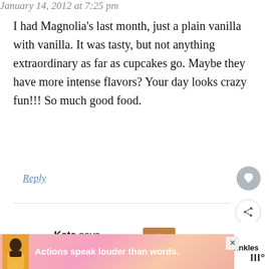January 14, 2012 at 7:25 pm
I had Magnolia's last month, just a plain vanilla with vanilla. It was tasty, but not anything extraordinary as far as cupcakes go. Maybe they have more intense flavors? Your day looks crazy fun!!! So much good food.
Reply
Kate says
January 14, 2012 at 9:12 pm
[Figure (screenshot): WHAT'S NEXT arrow label with thumbnail image and text '30 Years Of Sprinkles']
[Figure (infographic): Advertisement banner: 'Actions speak louder than words.' with avatar and logo]